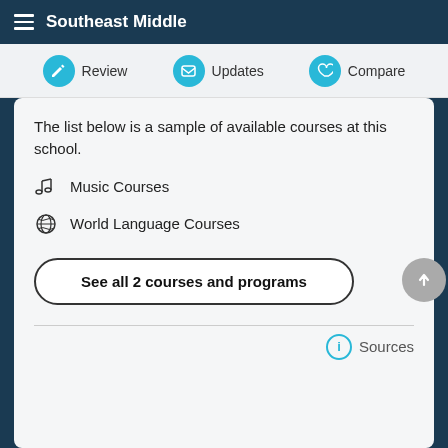Southeast Middle
Review   Updates   Compare
The list below is a sample of available courses at this school.
Music Courses
World Language Courses
See all 2 courses and programs
Sources
EQUITY